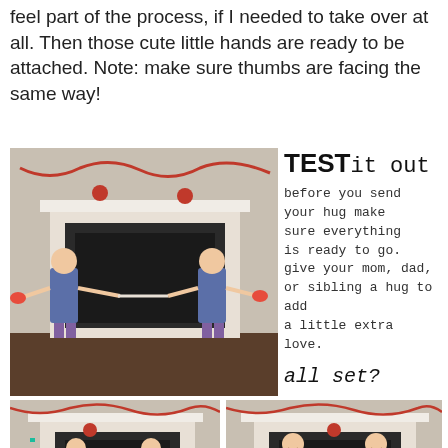feel part of the process, if I needed to take over at all. Then those cute little hands are ready to be attached. Note: make sure thumbs are facing the same way!
[Figure (photo): Two young girls standing in front of a fireplace with Valentine's Day decorations, arms outstretched holding paper hand chains.]
TEST it out
before you send your hug make sure everything is ready to go. give your mom, dad, or sibling a hug to add a little extra love.
all set?
[Figure (photo): Two young girls facing each other in front of fireplace, appearing to test the paper hand hug craft.]
[Figure (photo): Two young girls smiling and holding the completed paper hand hug craft with arms spread wide in front of fireplace.]